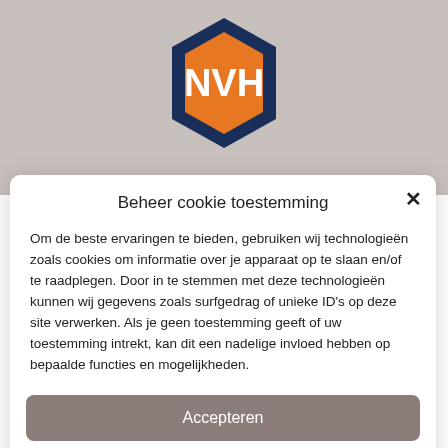[Figure (logo): NVH hexagonal logo with orange center and dark blue border displaying white text 'NVH']
Beheer cookie toestemming
Om de beste ervaringen te bieden, gebruiken wij technologieën zoals cookies om informatie over je apparaat op te slaan en/of te raadplegen. Door in te stemmen met deze technologieën kunnen wij gegevens zoals surfgedrag of unieke ID's op deze site verwerken. Als je geen toestemming geeft of uw toestemming intrekt, kan dit een nadelige invloed hebben op bepaalde functies en mogelijkheden.
Accepteren
Weigeren
Privacyverklaring